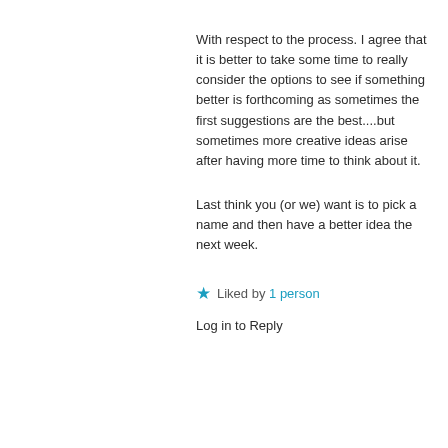With respect to the process. I agree that it is better to take some time to really consider the options to see if something better is forthcoming as sometimes the first suggestions are the best....but sometimes more creative ideas arise after having more time to think about it.
Last think you (or we) want is to pick a name and then have a better idea the next week.
★ Liked by 1 person
Log in to Reply